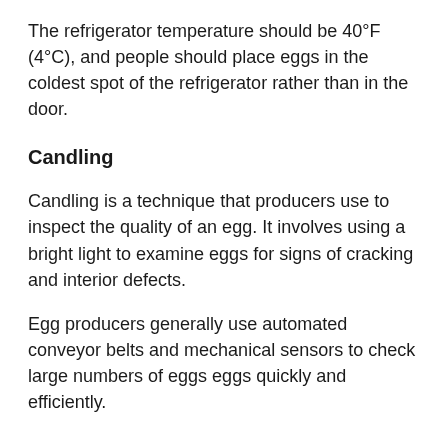The refrigerator temperature should be 40°F (4°C), and people should place eggs in the coldest spot of the refrigerator rather than in the door.
Candling
Candling is a technique that producers use to inspect the quality of an egg. It involves using a bright light to examine eggs for signs of cracking and interior defects.
Egg producers generally use automated conveyor belts and mechanical sensors to check large numbers of eggs eggs quickly and efficiently.